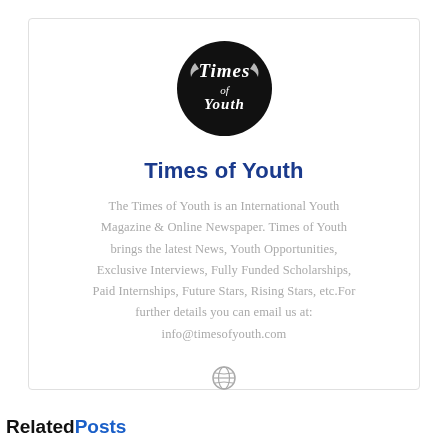[Figure (logo): Times of Youth circular black logo with old English style text]
Times of Youth
The Times of Youth is an International Youth Magazine & Online Newspaper. Times of Youth brings the latest News, Youth Opportunities, Exclusive Interviews, Fully Funded Scholarships, Paid Internships, Future Stars, Rising Stars, etc.For further details you can email us at: info@timesofyouth.com
[Figure (illustration): Small globe/world icon]
Related Posts